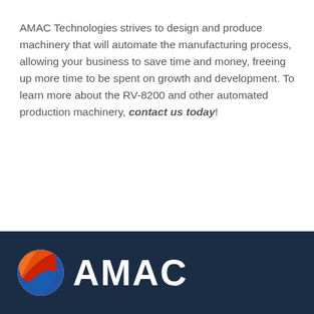AMAC Technologies strives to design and produce machinery that will automate the manufacturing process, allowing your business to save time and money, freeing up more time to be spent on growth and development. To learn more about the RV-8200 and other automated production machinery, contact us today!
[Figure (logo): AMAC Technologies logo: a globe-like sphere with red, orange, and blue swoosh stripes, followed by the word AMAC in bold white lettering, on a dark navy background footer bar.]